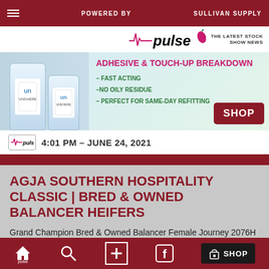POWERED BY | SULLIVAN SUPPLY
[Figure (logo): Pulse logo with ECG line and chili pepper, tagline: THE LATEST STOCK SHOW NEWS]
[Figure (photo): Advertisement for Sullivan Supply Undhere product - Adhesive & Touch-Up Breakdown. Fast Acting, No Oily Residue, Perfect for Same-Day Refitting. SHOP button.]
4:01 PM - JUNE 24, 2021
AGJA SOUTHERN HOSPITALITY CLASSIC | BRED & OWNED BALANCER HEIFERS
Grand Champion Bred & Owned Balancer Female Journey 2076H Sire: XXB Primo 541E ET Dam: XXB Miss 23B/709E Congratulations to [...]
3:37 PM - JUNE 24, 2021
pulse | search | + | Facebook | SHOP